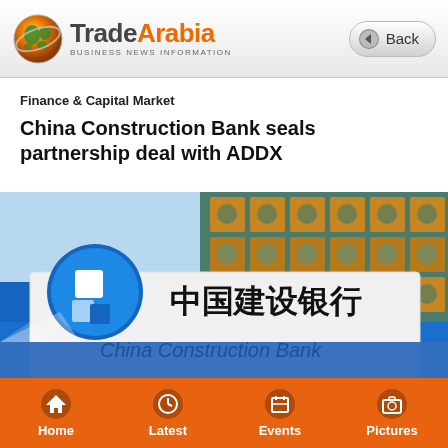TradeArabia - BUSINESS NEWS INFORMATION
Finance & Capital Market
China Construction Bank seals partnership deal with ADDX
[Figure (photo): Exterior photo of China Construction Bank branch showing the bank's logo (blue circle with white geometric design) and signage in both Chinese characters (中国建设银行) and English 'China Construction Bank', with a decorative ceiling visible in the background.]
Home | Latest | Events | Pictures